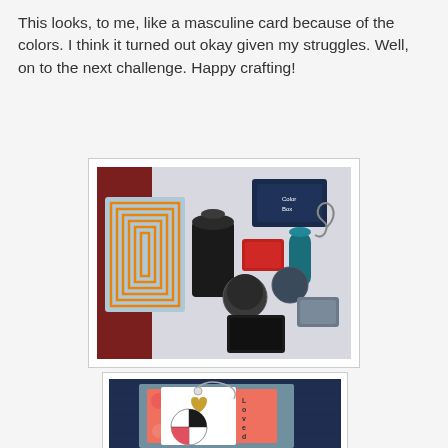This looks, to me, like a masculine card because of the colors. I think it turned out okay given my struggles. Well, on to the next challenge. Happy crafting!
[Figure (photo): A flat-lay photo on a red/dark table showing crafting supplies: die-cut templates with orange nested rectangles on blue card, ink pads (dark blue ColorBox, black, red), bottles of ink (teal/blue), small containers with glitter/embossing powder, and various craft tools on a white surface.]
[Figure (photo): A handmade card photographed against dark blue fabric. The card features a coral/pink floral patterned background, a white tag with a black and white pinwheel/umbrella design, a gold heart brad, silver wire/twine, and vertical text reading 'Loved B...' on the right side.]